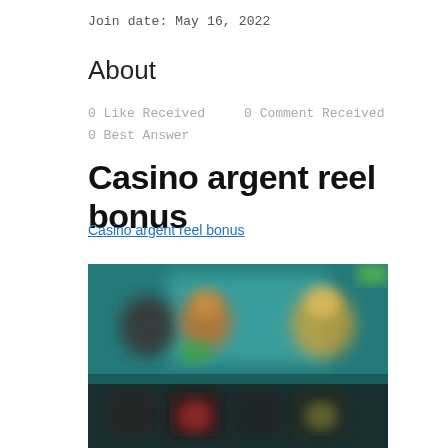Join date: May 16, 2022
About
0 Like Received    0 Comment Received
0 Best Answer
Casino argent reel bonus
Casino argent reel bonus
[Figure (photo): Blurred screenshot of a casino game interface with colorful characters and game tiles on a dark teal/blue background]